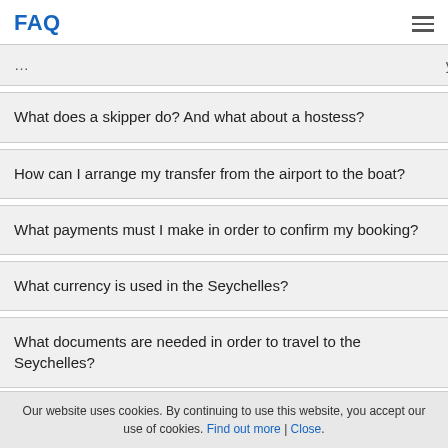FAQ
What does a skipper do? And what about a hostess?
How can I arrange my transfer from the airport to the boat?
What payments must I make in order to confirm my booking?
What currency is used in the Seychelles?
What documents are needed in order to travel to the Seychelles?
Client Reviews
Our website uses cookies. By continuing to use this website, you accept our use of cookies. Find out more | Close.